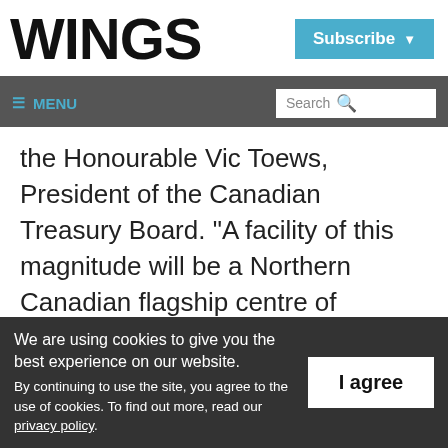WINGS
Subscribe
≡ MENU  Search
the Honourable Vic Toews, President of the Canadian Treasury Board. "A facility of this magnitude will be a Northern Canadian flagship centre of excellence that will receive global recognition and use, helping to attract and retain students, researchers, and industry
We are using cookies to give you the best experience on our website.
By continuing to use the site, you agree to the use of cookies.
To find out more, read our privacy policy.